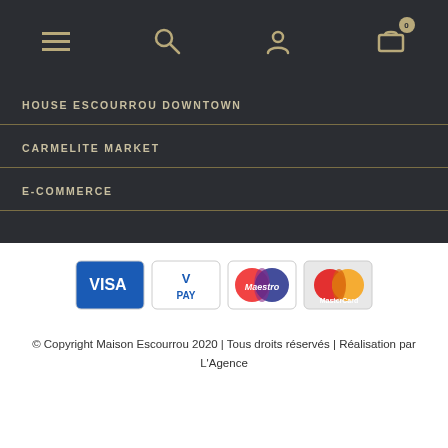Navigation bar with hamburger menu, search, user, and cart icons
HOUSE ESCOURROU DOWNTOWN
CARMELITE MARKET
E-COMMERCE
[Figure (other): Payment method icons: VISA, V PAY, Maestro, MasterCard]
© Copyright Maison Escourrou 2020 | Tous droits réservés | Réalisation par L'Agence